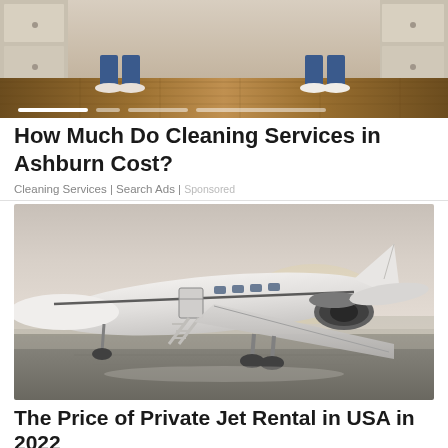[Figure (photo): Top portion of a kitchen scene showing two people's legs and feet standing on a wood floor, with white cabinets on both sides. Slider/carousel dots visible at the bottom.]
How Much Do Cleaning Services in Ashburn Cost?
Cleaning Services | Search Ads | Sponsored
[Figure (photo): A white private jet (small business jet) parked on an airport tarmac with stairs/door open, engines visible, photographed at a low angle against a hazy sky.]
The Price of Private Jet Rental in USA in 2022